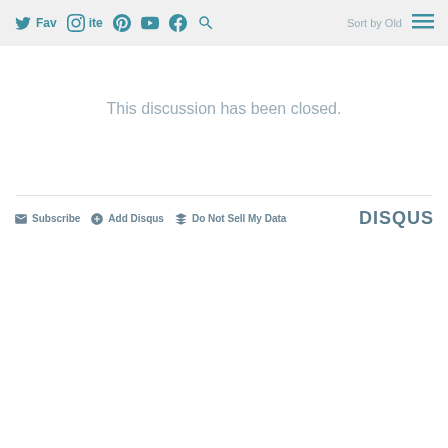Favorite | Sort by Oldest
This discussion has been closed.
Subscribe  Add Disqus  Do Not Sell My Data  DISQUS